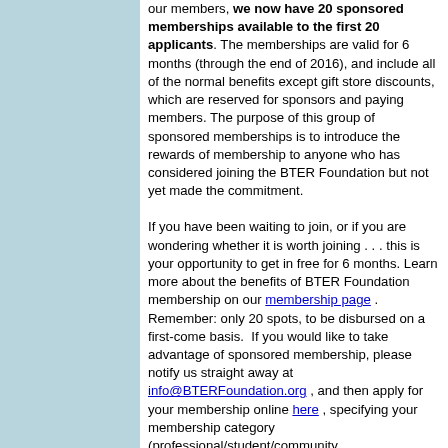our members, we now have 20 sponsored memberships available to the first 20 applicants. The memberships are valid for 6 months (through the end of 2016), and include all of the normal benefits except gift store discounts, which are reserved for sponsors and paying members. The purpose of this group of sponsored memberships is to introduce the rewards of membership to anyone who has considered joining the BTER Foundation but not yet made the commitment.
If you have been waiting to join, or if you are wondering whether it is worth joining . . . this is your opportunity to get in free for 6 months. Learn more about the benefits of BTER Foundation membership on our membership page . Remember: only 20 spots, to be disbursed on a first-come basis.  If you would like to take advantage of sponsored membership, please notify us straight away at info@BTERFoundation.org , and then apply for your membership online here , specifying your membership category (professional/student/community